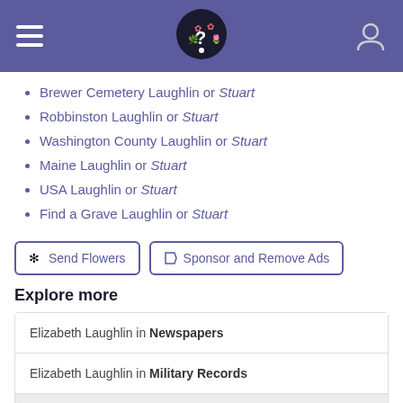[Figure (screenshot): Website header with purple background, hamburger menu icon on left, question mark logo in center, user/person icon on right]
Brewer Cemetery Laughlin or Stuart
Robbinston Laughlin or Stuart
Washington County Laughlin or Stuart
Maine Laughlin or Stuart
USA Laughlin or Stuart
Find a Grave Laughlin or Stuart
Send Flowers | Sponsor and Remove Ads
Explore more
Elizabeth Laughlin in Newspapers
Elizabeth Laughlin in Military Records
View more records for Elizabeth Laughlin at Ancestry.com